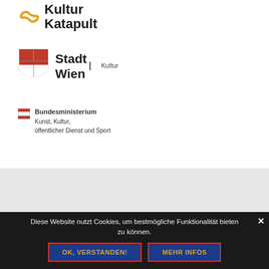[Figure (logo): KulturKatapult logo with orange infinity/loop symbol and bold black text 'Kultur Katapult']
[Figure (logo): Stadt Wien Kultur logo with red shield quartered emblem and bold text 'Stadt Wien' with 'Kultur' subtitle]
[Figure (logo): Bundesministerium logo with Austrian flag stripes and text 'Bundesministerium Kunst, Kultur, öffentlicher Dienst und Sport']
© 2022 Ich bin O.K. | Using Reykjavik WordPress theme. | Nach oben ↑
Diese Website nutzt Cookies, um bestmögliche Funktionalität bieten zu können.
OK, VERSTANDEN!
MEHR INFOS